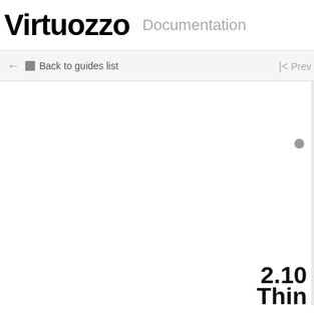Virtuozzo Documentation
← Back to guides list
|< Prev
2.10 Thin
T... O...